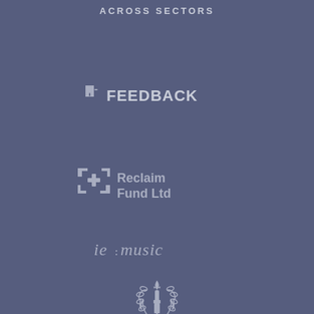ACROSS SECTORS
[Figure (logo): Feedback logo: puzzle piece icon followed by bold text 'FEEDBACK' in white/light grey]
[Figure (logo): Reclaim Fund Ltd logo: expand/arrows icon with text 'Reclaim Fund Ltd' in two lines]
[Figure (logo): ie:music logo: stylised lowercase text 'ie:music' with colon separator]
[Figure (logo): Torch/laurel wreath emblem icon in light grey]